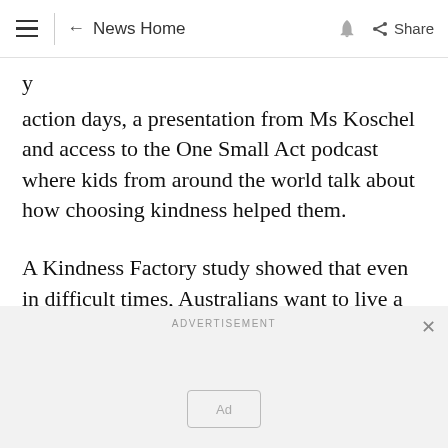≡  ← News Home  🔔  Share
action days, a presentation from Ms Koschel and access to the One Small Act podcast where kids from around the world talk about how choosing kindness helped them.
A Kindness Factory study showed that even in difficult times, Australians want to live a life of kindness.
[Figure (other): Advertisement placeholder with 'Ad' label box]